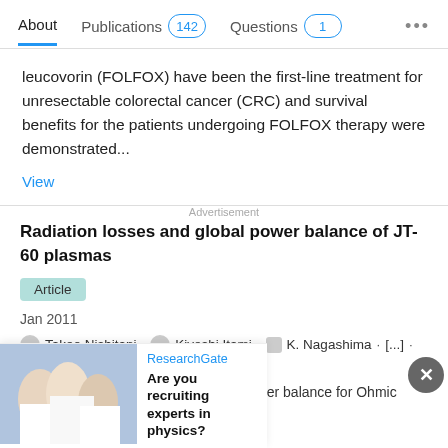About  Publications 142  Questions 1  ...
leucovorin (FOLFOX) have been the first-line treatment for unresectable colorectal cancer (CRC) and survival benefits for the patients undergoing FOLFOX therapy were demonstrated...
View
Radiation losses and global power balance of JT-60 plasmas
Article
Jan 2011
Takeo Nishitani · Kiyoshi Itami · K. Nagashima · [...] · H. Takeuchi
The radiation losses and the global power balance for Ohmic
Advertisement
[Figure (photo): Advertisement banner showing researchers in lab coats with ResearchGate branding and text 'Are you recruiting experts in physics?']
ResearchGate
Are you recruiting experts in physics?